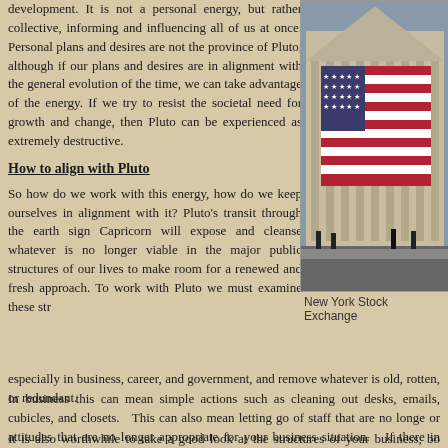development. It is not a personal energy, but rather collective, informing and influencing all of us at once. Personal plans and desires are not the province of Pluto, although if our plans and desires are in alignment with the general evolution of the time, we can take advantage of the energy. If we try to resist the societal need for growth and change, then Pluto can be experienced as extremely destructive.
[Figure (photo): Photograph of the New York Stock Exchange building facade with a large American flag hanging on it, people visible on the street below.]
New York Stock Exchange
How to align with Pluto
So how do we work with this energy, how do we keep ourselves in alignment with it? Pluto's transit through the earth sign Capricorn will expose and cleanse whatever is no longer viable in the major public structures of our lives to make room for a renewed and fresh approach. To work with Pluto we must examine these str... especially in business, career, and government, and remove whatever is old, rotten, or redundant.
In business this can mean simple actions such as cleaning out desks, emails, cubicles, and closets. This can also mean letting go of staff that are no longer or attitudes that are no longer appropriate for your business situation. If there in your business environment, or racism, ageism, or any other “ism” sapping e task is to bring it to the surface and remove it.
It is also worthwhile to take a good look at the structures of your business, bo... integrity of your hard assets such as buildings and vehicles, as well as your s... budgets, debt, and the value of your assets. Anything that is unsafe, unsound... in secret will be exposed under a Pluto transit.